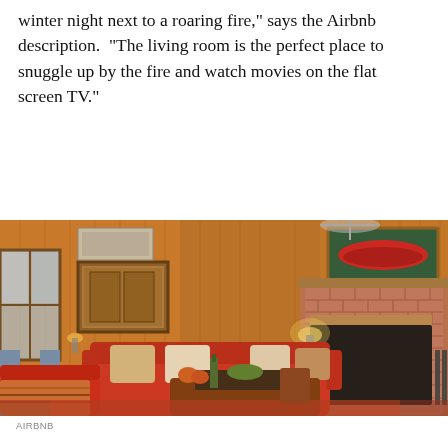winter night next to a roaring fire," says the Airbnb description.  "The living room is the perfect place to snuggle up by the fire and watch movies on the flat screen TV."
[Figure (photo): Interior photo of a cozy log cabin living room with wood-paneled walls, vaulted white ceiling with exposed beam, red sofas with decorative pillows, a brown leather ottoman coffee table with wine bottle and fruit, a brick fireplace with painting above it, artwork on walls, and a colorful patterned area rug.]
AIRBNB